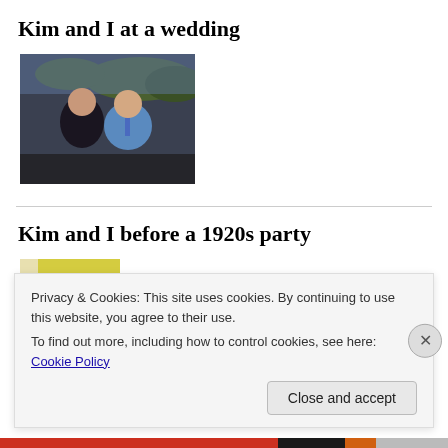Kim and I at a wedding
[Figure (photo): Photo of couple (Kim and man) seated at a table outdoors at a wedding, trees in background]
Kim and I before a 1920s party
[Figure (photo): Photo of couple (Kim and man) in front of a yellow wall, partially obscured by cookie banner]
Privacy & Cookies: This site uses cookies. By continuing to use this website, you agree to their use.
To find out more, including how to control cookies, see here: Cookie Policy
Close and accept